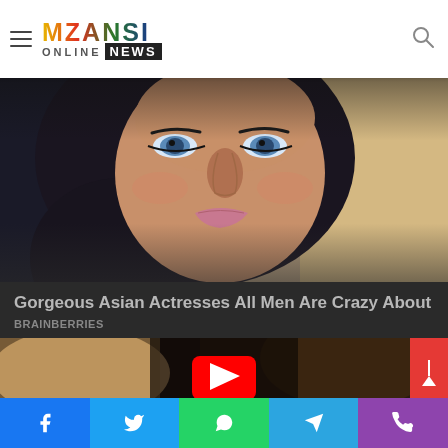Mzansi Online News
[Figure (photo): Close-up portrait of a woman with blue eyes and dark hair, looking at camera]
Gorgeous Asian Actresses All Men Are Crazy About
BRAINBERRIES
[Figure (photo): Video thumbnail showing two people with a YouTube play button overlay]
Facebook | Twitter | WhatsApp | Telegram | Phone